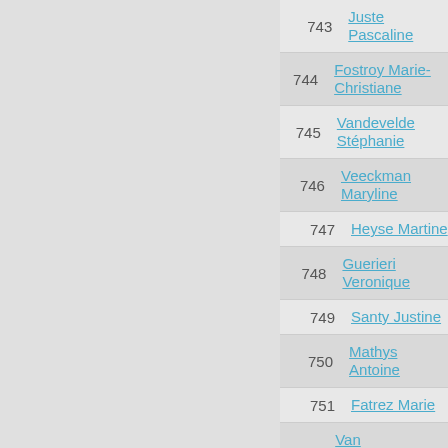| # | Name |
| --- | --- |
| 743 | Juste Pascaline |
| 744 | Fostroy Marie-Christiane |
| 745 | Vandevelde Stéphanie |
| 746 | Veeckman Maryline |
| 747 | Heyse Martine |
| 748 | Guerieri Veronique |
| 749 | Santy Justine |
| 750 | Mathys Antoine |
| 751 | Fatrez Marie |
| 752 | Van Nieuwenhuyze Eric |
| 753 | Tesolin Barbara |
| 754 | Hansquine Muriel |
| 755 | Mahieu Maite |
| 756 | Renard Kathy |
| 757 | François José |